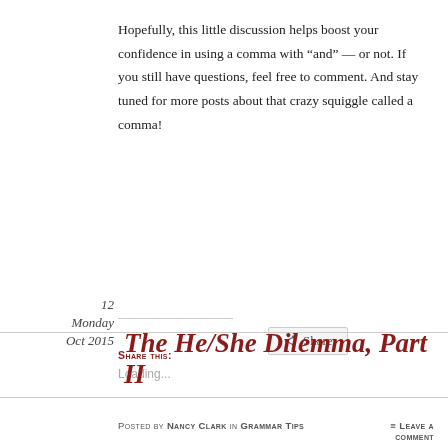Hopefully, this little discussion helps boost your confidence in using a comma with “and” — or not. If you still have questions, feel free to comment. And stay tuned for more posts about that crazy squiggle called a comma!
[Figure (other): Share button UI element with share icon and label 'Share This:' and Loading... text]
The He/She Dilemma, Part II
12 Monday Oct 2015
Posted by Nancy Clark in Grammar Tips ≡ Leave a comment